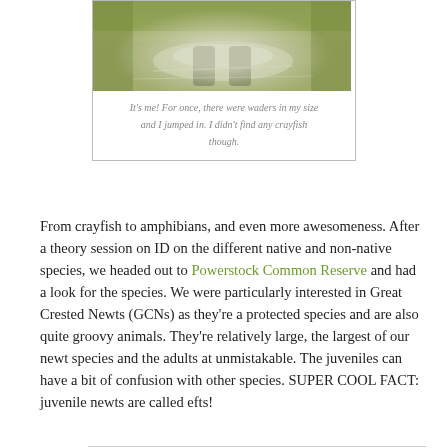[Figure (photo): Photo of a person wading in a stream or shallow water, surrounded by green vegetation and water reflections]
It's me! For once, there were waders in my size and I jumped in. I didn't find any crayfish though.
From crayfish to amphibians, and even more awesomeness. After a theory session on ID on the different native and non-native species, we headed out to Powerstock Common Reserve and had a look for the species. We were particularly interested in Great Crested Newts (GCNs) as they're a protected species and are also quite groovy animals. They're relatively large, the largest of our newt species and the adults at unmistakable. The juveniles can have a bit of confusion with other species. SUPER COOL FACT: juvenile newts are called efts!